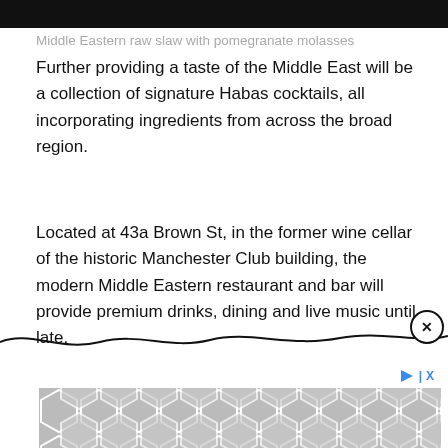[Figure (photo): Black image bar at the top of the page]
Middle Eastern raw slaw with pomegranate molasses
Further providing a taste of the Middle East will be a collection of signature Habas cocktails, all incorporating ingredients from across the broad region.
Located at 43a Brown St, in the former wine cellar of the historic Manchester Club building, the modern Middle Eastern restaurant and bar will provide premium drinks, dining and live music until late.
Follow Habas
[Figure (other): Wavy divider line with close (X) button on the right]
[Figure (other): Advertisement banner with geometric grey hexagon pattern and ad controls]